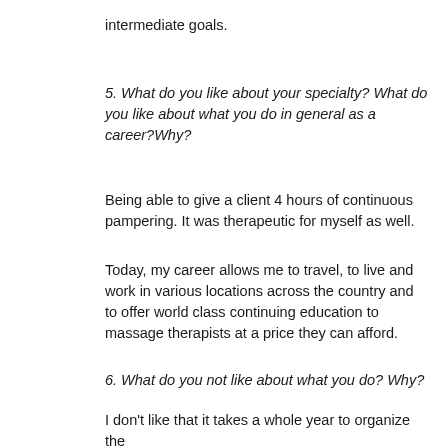intermediate goals.
5. What do you like about your specialty? What do you like about what you do in general as a career?Why?
Being able to give a client 4 hours of continuous pampering. It was therapeutic for myself as well.
Today, my career allows me to travel, to live and work in various locations across the country and to offer world class continuing education to massage therapists at a price they can afford.
6. What do you not like about what you do? Why?
I don't like that it takes a whole year to organize the event. I wish we could do it more often. However, in order to make it the Festival, and provide the high quality experience it does, we are limited to once a year.
7. If there were three things you could change about your